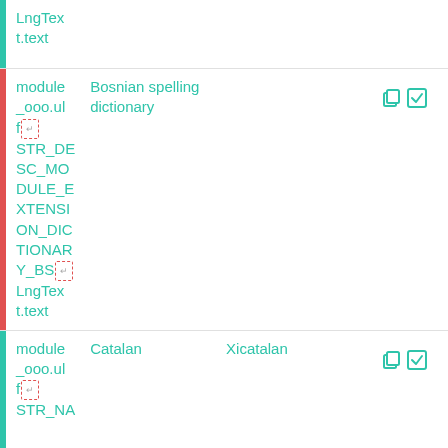LngText.text
module _ooo.ulf  [dashed] STR_DE SC_MO DULE_E XTENSI ON_DIC TIONAR Y_BS[dashed] LngText.text  Bosnian spelling dictionary
module _ooo.ulf  [dashed] STR_NA  Catalan  Xicatalan